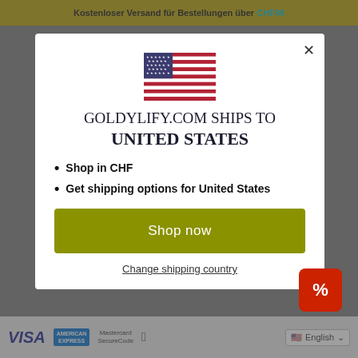Kostenloser Versand für Bestellungen über CHF89
[Figure (screenshot): US flag emoji/illustration shown in modal dialog]
GOLDYLIFY.COM SHIPS TO UNITED STATES
Shop in CHF
Get shipping options for United States
Shop now
Change shipping country
[Figure (infographic): Red percent sign badge button in bottom right]
VISA  AMERICAN EXPRESS  Mastercard SecureCode  Apple Pay  English